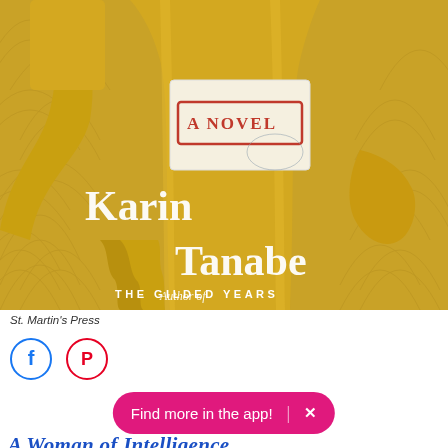[Figure (illustration): Book cover of 'A Woman of Intelligence' by Karin Tanabe. Shows a woman in a golden yellow coat and gloves holding an envelope stamped 'A NOVEL', set against an art deco fan pattern background. Text reads: Karin Tanabe, Author of THE GILDED YEARS.]
St. Martin's Press
[Figure (other): Social media icons: Facebook (blue circle with f) and Pinterest (red circle with P)]
Find more in the app! ×
A Woman of Intelligence